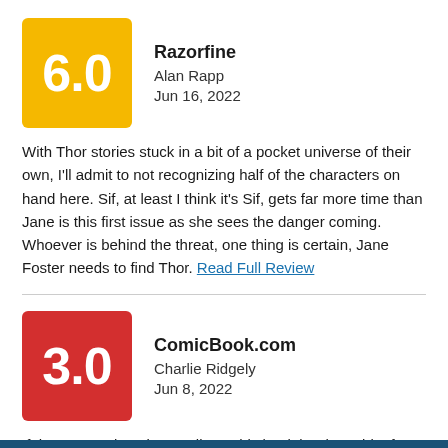[Figure (other): Yellow score box with 6.0 rating]
Razorfine
Alan Rapp
Jun 16, 2022
With Thor stories stuck in a bit of a pocket universe of their own, I'll admit to not recognizing half of the characters on hand here. Sif, at least I think it's Sif, gets far more time than Jane is this first issue as she sees the danger coming. Whoever is behind the threat, one thing is certain, Jane Foster needs to find Thor. Read Full Review
[Figure (other): Red score box with 3.0 rating]
ComicBook.com
Charlie Ridgely
Jun 8, 2022
If there's a redeeming quality to this book it's the spirit of Jane Foster shining through its lackluster script. Read Full Review